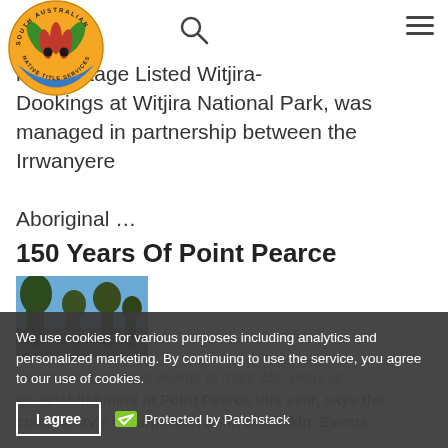[Figure (logo): South Australian Native Title Services circular logo with stylized red kangaroo paw flowers and green leaves on orange/blue background]
nal Heritage Listed Witjira-Dookings at Witjira National Park, was managed in partnership between the Irrwanyere Aboriginal …
150 Years Of Point Pearce
[Figure (photo): Partial outdoor photo showing trees against a blue sky]
country in a range of events to mark 150 years of its establishment at Point Pearce this year, says the community's Chairperson John Buckskin. Events
We use cookies for various purposes including analytics and personalized marketing. By continuing to use the service, you agree to our use of cookies.
I agree
Protected by Patchstack